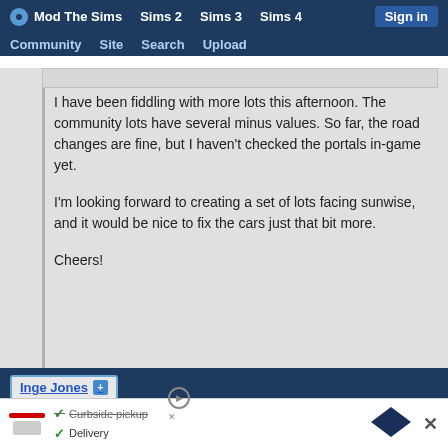Mod The Sims | Sims 2 | Sims 3 | Sims 4 | Sign in | Community | Site | Search | Upload
I have been fiddling with more lots this afternoon. The community lots have several minus values. So far, the road changes are fine, but I haven't checked the portals in-game yet.

I'm looking forward to creating a set of lots facing sunwise, and it would be nice to fix the cars just that bit more.

Cheers!
Inge Jones
4th Oct 2007 at 10:49 AM Last edited by Inge Jones : #197
[Figure (screenshot): Advertisement banner with delivery/curbside pickup options]